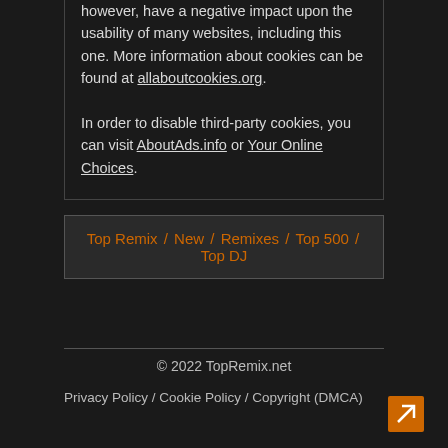however, have a negative impact upon the usability of many websites, including this one. More information about cookies can be found at allaboutcookies.org.
In order to disable third-party cookies, you can visit AboutAds.info or Your Online Choices.
Top Remix / New / Remixes / Top 500 / Top DJ
© 2022 TopRemix.net
Privacy Policy / Cookie Policy / Copyright (DMCA)